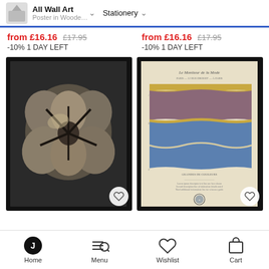All Wall Art / Poster in Woode... / Stationery
from £16.16  £17.95  -10% 1 DAY LEFT
from £16.16  £17.95  -10% 1 DAY LEFT
[Figure (photo): Framed black and white close-up photograph of a cotton boll or seed pod viewed from below, showing star-like lobes, on dark background]
[Figure (photo): Framed vintage fashion plate print 'Le Moniteur de la Mode' showing decorative wavy horizontal bands in blue, brown/mauve, and cream with gold outlines on cream background with text below and a circular stamp/seal]
Home  Menu  Wishlist  Cart